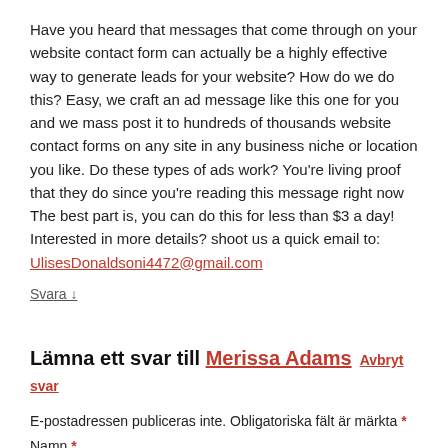Have you heard that messages that come through on your website contact form can actually be a highly effective way to generate leads for your website? How do we do this? Easy, we craft an ad message like this one for you and we mass post it to hundreds of thousands website contact forms on any site in any business niche or location you like. Do these types of ads work? You're living proof that they do since you're reading this message right now The best part is, you can do this for less than $3 a day! Interested in more details? shoot us a quick email to: UlisesDonaldsoni4472@gmail.com
Svara ↓
Lämna ett svar till Merissa Adams  Avbryt svar
E-postadressen publiceras inte. Obligatoriska fält är märkta *
Namn *